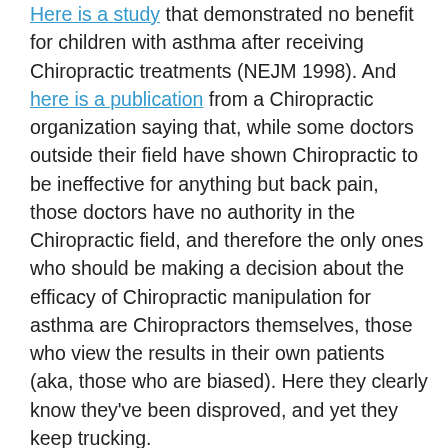Here is a study that demonstrated no benefit for children with asthma after receiving Chiropractic treatments (NEJM 1998). And here is a publication from a Chiropractic organization saying that, while some doctors outside their field have shown Chiropractic to be ineffective for anything but back pain, those doctors have no authority in the Chiropractic field, and therefore the only ones who should be making a decision about the efficacy of Chiropractic manipulation for asthma are Chiropractors themselves, those who view the results in their own patients (aka, those who are biased). Here they clearly know they've been disproved, and yet they keep trucking.

Here is a study that demonstrated that for back